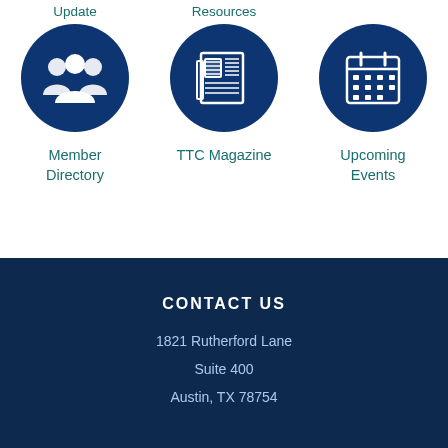[Figure (infographic): Three circular navy blue icons in a row: a people/members icon with label 'Update' above and 'Member Directory' below; a newspaper icon with label 'Resources' above and 'TTC Magazine' below; a calendar icon with no top label and 'Upcoming Events' below.]
CONTACT US
1821 Rutherford Lane
Suite 400
Austin, TX 78754